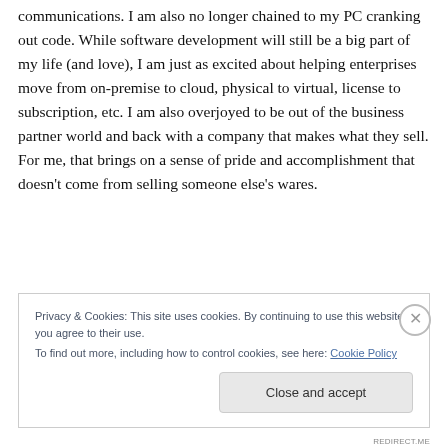communications. I am also no longer chained to my PC cranking out code. While software development will still be a big part of my life (and love), I am just as excited about helping enterprises move from on-premise to cloud, physical to virtual, license to subscription, etc. I am also overjoyed to be out of the business partner world and back with a company that makes what they sell. For me, that brings on a sense of pride and accomplishment that doesn't come from selling someone else's wares.
Privacy & Cookies: This site uses cookies. By continuing to use this website, you agree to their use. To find out more, including how to control cookies, see here: Cookie Policy
Close and accept
REDIRECT.ME